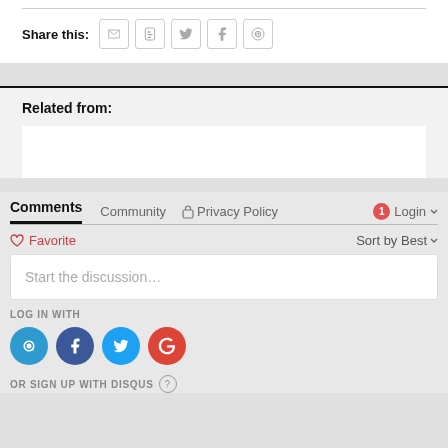Share this:
Related from:
Comments  Community  Privacy Policy  Login
Favorite  Sort by Best
Start the discussion…
LOG IN WITH
OR SIGN UP WITH DISQUS